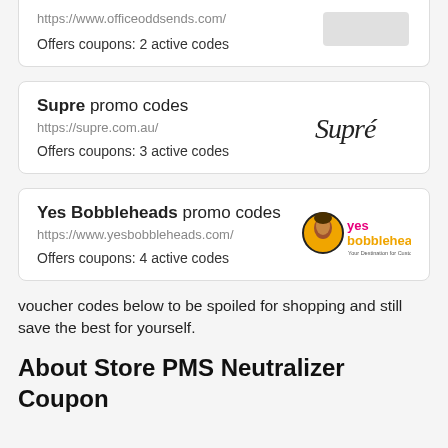https://www.officeoddsends.com/
Offers coupons: 2 active codes
Supre promo codes
https://supre.com.au/
Offers coupons: 3 active codes
[Figure (logo): Supré cursive script logo]
Yes Bobbleheads promo codes
https://www.yesbobbleheads.com/
Offers coupons: 4 active codes
[Figure (logo): yesbobbleheads logo with circular portrait icon, pink 'yes' and gold 'bobbleheads' text]
voucher codes below to be spoiled for shopping and still save the best for yourself.
About Store PMS Neutralizer Coupon